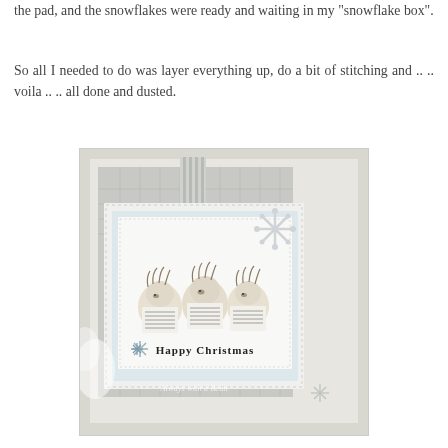the pad, and the snowflakes were ready and waiting in my "snowflake box".
So all I needed to do was layer everything up, do a bit of stitching and .. .. voila .. .. all done and dusted.
[Figure (photo): A handmade Christmas card featuring three hedgehog carolers holding sheet music, with 'Happy Christmas' text and snowflake decorations, layered on white and silver/grey cardstock with stitching details. Watermark reads 'Always with a Bean'.]